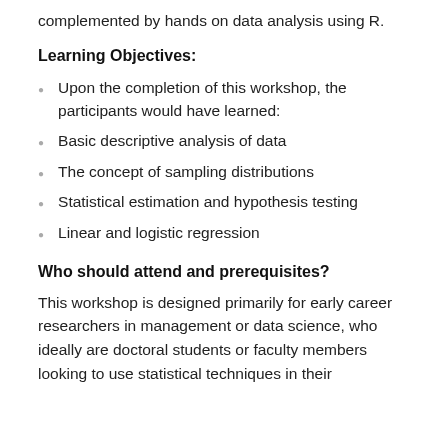complemented by hands on data analysis using R.
Learning Objectives:
Upon the completion of this workshop, the participants would have learned:
Basic descriptive analysis of data
The concept of sampling distributions
Statistical estimation and hypothesis testing
Linear and logistic regression
Who should attend and prerequisites?
This workshop is designed primarily for early career researchers in management or data science, who ideally are doctoral students or faculty members looking to use statistical techniques in their